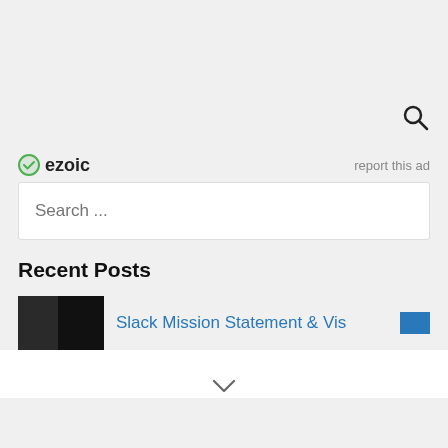[Figure (logo): Ezoic logo with green circle checkmark icon and bold text 'ezoic']
report this ad
Search ...
Recent Posts
Slack Mission Statement & Vis...